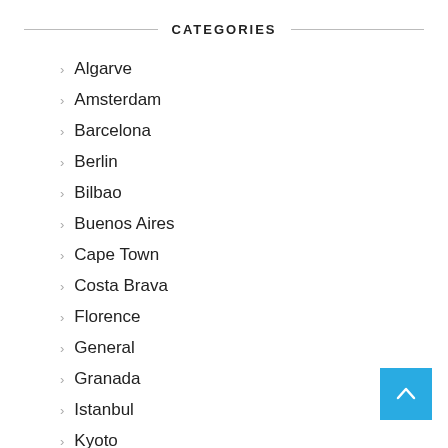CATEGORIES
Algarve
Amsterdam
Barcelona
Berlin
Bilbao
Buenos Aires
Cape Town
Costa Brava
Florence
General
Granada
Istanbul
Kyoto